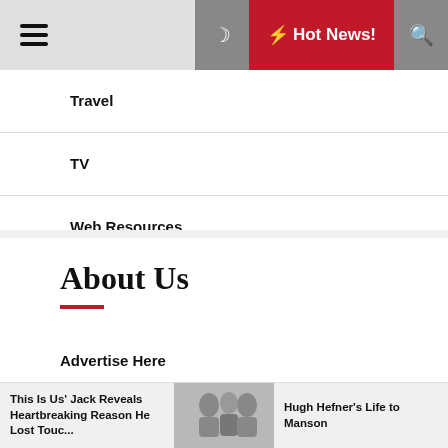Hot News!
Travel
TV
Web Resources
About Us
Advertise Here
Contact Us
Disclosure Policy
This Is Us' Jack Reveals Heartbreaking Reason He Lost Touc... | Hugh Hefner's Life to Manson